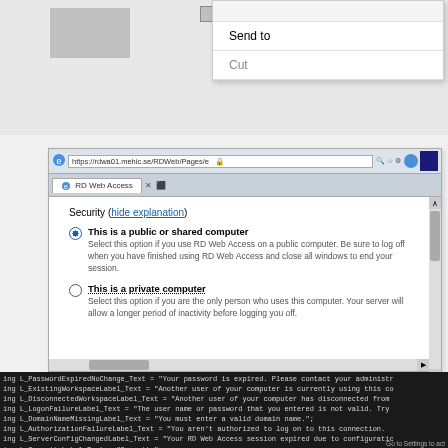[Figure (screenshot): Top portion of a Windows context menu showing 'Send to' and 'Cut' menu items, with a grey icon/thumbnail on the left side.]
[Figure (screenshot): Internet Explorer browser window showing RD Web Access security page at https://rdwa01.mehic.se/RDWeb/Pages/e. The page shows Security options with 'This is a public or shared computer' selected (radio button) and 'This is a private computer' as the alternative option. Contains explanatory text for each option.]
ing L_PasswordExpiredNoChange_Text = "Your password is expired. Please contact your administr
ing L_ExistingWorkspaceLabel_Text = "Another user of your computer is currently using this co
ing L_DisconnectedWorkspaceLabel_Text = "Another user of your computer has disconnected from
ing L_LogonFailureLabel_Text = "The user name or password that you entered is not valid. Try
ing L_DomainNameMissingLabel_Text = "You must enter a valid domain name.";
ing L_AuthorizationFailureLabel_Text = "You aren't authorized to log on to this connection.
ing L_ServerConfigChangedLabel_Text = "Your RD Web Access session expired due to configuratic
ing L_SecurityLabel_Text = "Security";
ing L_ShowExplanationLabel_Text = "show explanation";
ing L_HideExplanationLabel_Text = "hide explanation";
ing L_PublicLabel_Text = "This is a public or shared computer";
ing L_PublicExplanationLabel_Text = "Select this option if you use RD Web Access on a public
ing L_PrivateLabel_Text = "This is a private computer";
ing L_PrivateExplanationLabel_Text = "Select this option if you are the only person who uses
ing L_PrivateWarningLabel_Text = "Warning:  By selecting this option, you confirm that this c
ing L_PrivateWarningLabelNoAx_Text = "Warning:  By logging in to this web page, you confirm t
ing L_SignInLabel_Text = "Sign in";
ing L_TSWATimeoutLabel_Text = "To protect against unauthorized access, your RD Web Access ser
ing L_RenderFailTitle_Text = "Error: Unable to display RD Web Access";